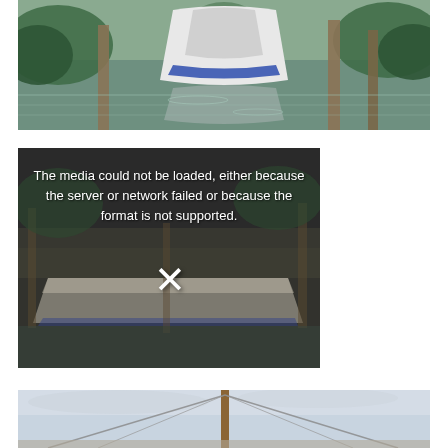[Figure (photo): Sailboat hull viewed from the bow, stored on stands in a marina or boatyard, surrounded by water and wooden dock pilings, with reflections visible in the calm water. Green foliage in the background.]
[Figure (photo): Video player showing a classic wooden motorboat docked at a marina, with a dark overlay and error message: 'The media could not be loaded, either because the server or network failed or because the format is not supported.' An X icon is displayed in the center.]
[Figure (photo): Partial view of a sailboat mast and rigging against a light overcast sky, with the wooden mast prominent in the center and wire shrouds extending outward.]